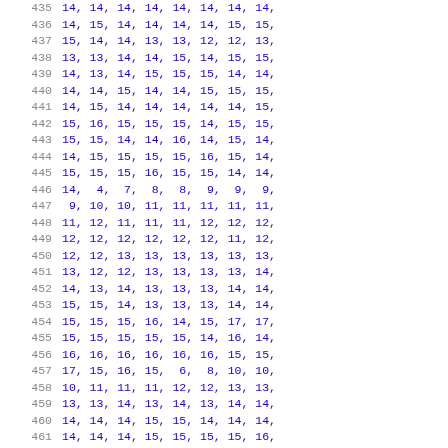435  14, 14, 14, 14, 14, 14, 14, 14,
436  14, 15, 14, 14, 14, 14, 15, 15,
437  15, 14, 14, 13, 13, 12, 12, 13,
438  13, 13, 14, 14, 15, 14, 15, 15,
439  14, 13, 14, 15, 15, 15, 14, 14,
440  14, 14, 15, 14, 14, 15, 15, 15,
441  14, 15, 14, 14, 14, 14, 14, 15,
442  15, 16, 15, 15, 15, 14, 15, 15,
443  15, 15, 14, 14, 16, 14, 15, 14,
444  14, 15, 15, 15, 15, 16, 15, 14,
445  15, 15, 15, 16, 15, 15, 14, 14,
446  14,  4,  7,  8,  8,  9,  9,  9,
447   9, 10, 10, 11, 11, 11, 11, 11,
448  11, 12, 11, 11, 11, 12, 12, 12,
449  12, 12, 12, 12, 12, 12, 11, 12,
450  12, 12, 13, 13, 13, 13, 13, 13,
451  13, 12, 12, 13, 13, 13, 13, 14,
452  14, 13, 14, 13, 13, 13, 14, 14,
453  15, 15, 14, 13, 13, 13, 14, 14,
454  15, 15, 15, 16, 14, 15, 17, 17,
455  15, 15, 15, 15, 15, 14, 16, 14,
456  16, 16, 16, 16, 16, 16, 15, 15,
457  17, 15, 16, 15,  6,  8, 10, 10,
458  10, 11, 11, 11, 12, 12, 13, 13,
459  13, 13, 14, 13, 14, 13, 14, 14,
460  14, 14, 14, 15, 15, 14, 14, 14,
461  14, 14, 14, 15, 15, 15, 15, 16,
462  15, 15, 16, 15, 15, 15, 14, 16,
463  15, 15, 18, 17, 16, 17, 15, 14,
464  15, 16, 16, 19, 17, 19, 16, 17,
465  15,  7, 10, 11, 12, 12, 12, 12,
466  13, 13, 13, 14, 15, 14, 15, 15,